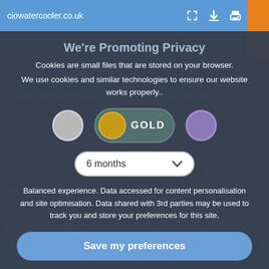ciowatercooler.co.uk
We're Promoting Privacy
Cookies are small files that are stored on your browser.
We use cookies and similar technologies to ensure our website works properly..
[Figure (infographic): Three toggle/option buttons: grey circle, gold toggle labeled GOLD, purple circle]
[Figure (infographic): Dropdown showing '6 months' with chevron arrow]
Balanced experience. Data accessed for content personalisation and site optimisation. Data shared with 3rd parties may be used to track you and store your preferences for this site.
Save my preferences
Preferences   Privacy policy